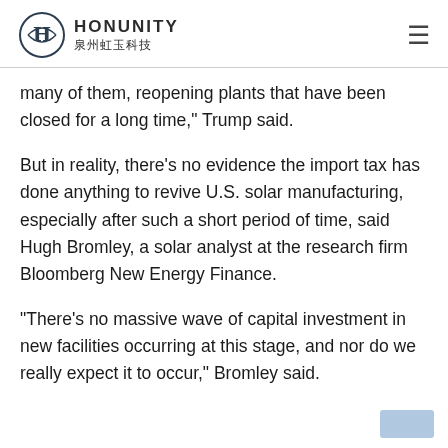HONUNITY 泉州虹玉科技
many of them, reopening plants that have been closed for a long time," Trump said.
But in reality, there's no evidence the import tax has done anything to revive U.S. solar manufacturing, especially after such a short period of time, said Hugh Bromley, a solar analyst at the research firm Bloomberg New Energy Finance.
"There's no massive wave of capital investment in new facilities occurring at this stage, and nor do we really expect it to occur," Bromley said.